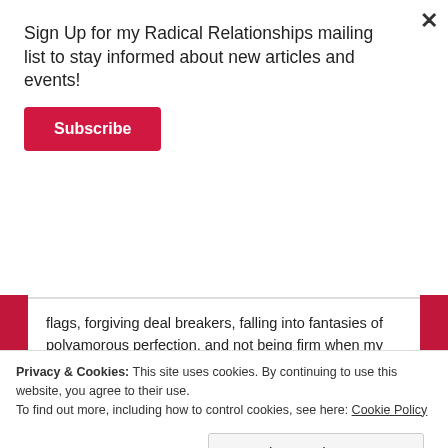Sign Up for my Radical Relationships mailing list to stay informed about new articles and events!
Subscribe
flags, forgiving deal breakers, falling into fantasies of polyamorous perfection, and not being firm when my boundaries were repeatedly bumped up against- and, continuing to come back because I thought, in some twisted way, forgiving those actions meant connection, and symbolised Love. I compromised in an attempt to ‘keep everyone happy’ and maintain the status quo.
Privacy & Cookies: This site uses cookies. By continuing to use this website, you agree to their use.
To find out more, including how to control cookies, see here: Cookie Policy
Close and accept